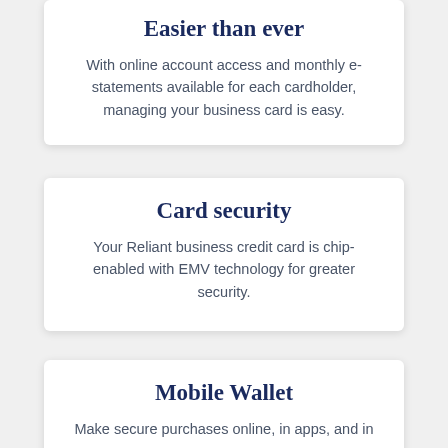Easier than ever
With online account access and monthly e-statements available for each cardholder, managing your business card is easy.
Card security
Your Reliant business credit card is chip-enabled with EMV technology for greater security.
Mobile Wallet
Make secure purchases online, in apps, and in